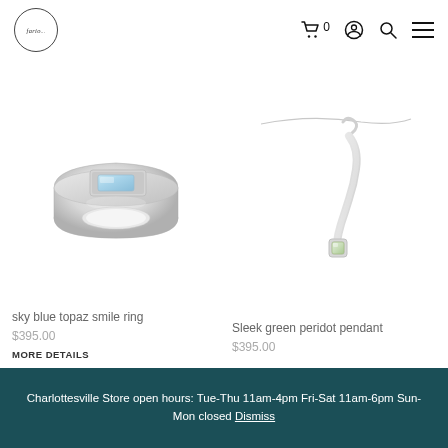fario... [logo] | cart 0 | account | search | menu
[Figure (photo): Silver ring with rectangular sky blue topaz stone set in a wide flat band]
sky blue topaz smile ring
$395.00
MORE DETAILS
[Figure (photo): Silver pendant with curved elongated shape and small square green peridot stone at bottom, on thin silver chain]
Sleek green peridot pendant
$395.00
Charlottesville Store open hours: Tue-Thu 11am-4pm Fri-Sat 11am-6pm Sun-Mon closed Dismiss